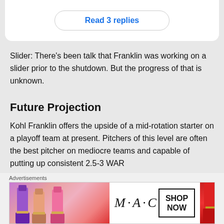Read 3 replies
Slider: There's been talk that Franklin was working on a slider prior to the shutdown. But the progress of that is unknown.
Future Projection
Kohl Franklin offers the upside of a mid-rotation starter on a playoff team at present. Pitchers of this level are often the best pitcher on mediocre teams and capable of putting up consistent 2.5-3 WAR
Advertisements
[Figure (other): MAC Cosmetics advertisement banner showing lipsticks and MAC logo with SHOP NOW button]